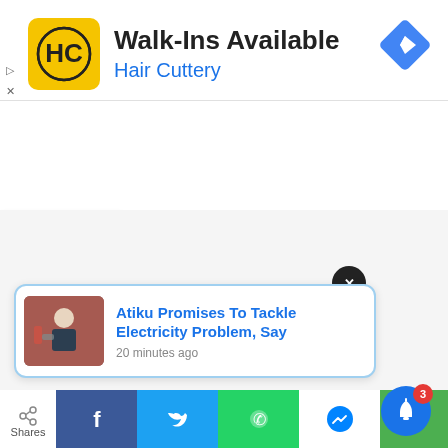[Figure (screenshot): Hair Cuttery advertisement banner with yellow HC logo, title 'Walk-Ins Available', subtitle 'Hair Cuttery' in blue, and a blue diamond navigation icon on the right]
[Figure (screenshot): Notification card with photo of a man speaking at a podium, headline 'Atiku Promises To Tackle Electricity Problem, Say' in blue, timestamp '20 minutes ago']
[Figure (screenshot): Bottom social share bar with Facebook, Twitter, WhatsApp, Messenger icons and a blue bell notification button with badge showing 3]